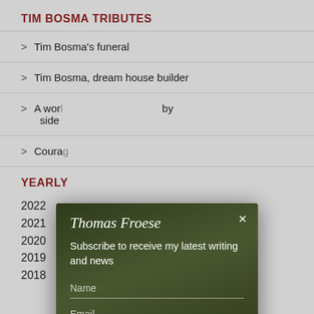TIM BOSMA TRIBUTES
> Tim Bosma's funeral
> Tim Bosma, dream house builder
> A worl… by side
> Coura…
YEARLY
2022
2021
2020
2019
2018
[Figure (photo): Subscription modal overlay on the Thomas Froese website, showing a man with glasses in the background, with fields for Name and Email and a Subscribe button.]